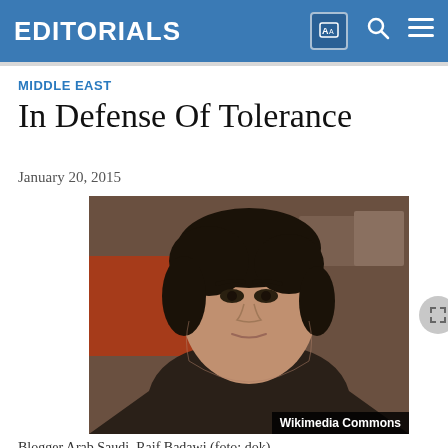EDITORIALS
MIDDLE EAST
In Defense Of Tolerance
January 20, 2015
[Figure (photo): Portrait photo of a man with dark hair wearing a dark jacket and white shirt, with a 'Wikimedia Commons' watermark badge in the bottom right corner.]
Blogger Arab Saudi, Raif Badawi (foto: dok)